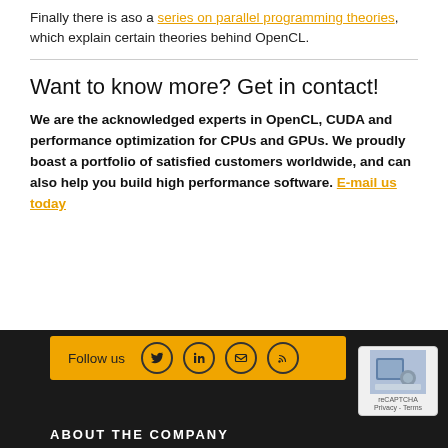Finally there is aso a series on parallel programming theories, which explain certain theories behind OpenCL.
Want to know more? Get in contact!
We are the acknowledged experts in OpenCL, CUDA and performance optimization for CPUs and GPUs. We proudly boast a portfolio of satisfied customers worldwide, and can also help you build high performance software. E-mail us today
Follow us | ABOUT THE COMPANY